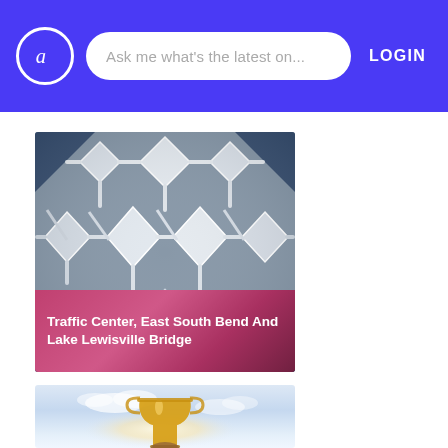Ask me what's the latest on...  LOGIN
[Figure (photo): Geometric white architectural lattice structure with star/cross patterns, close-up view]
Traffic Center, East South Bend And Lake Lewisville Bridge
[Figure (photo): Person holding a trophy cup against a bright sky background]